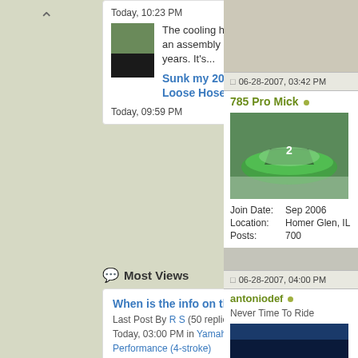Today, 10:23 PM
The cooling hoses have been an assembly issue for a few years. It's...
Sunk my 2022 RXTX - Loose Hose
Today, 09:59 PM
Most Views
When is the info on the 2023...
Last Post By R S (50 replies)
Today, 03:00 PM in Yamaha PWC Performance (4-stroke)
Turbo Project with low boost 18-19...
Last Post By jetplane (67 replies)
Yesterday, 05:29 PM in Sea Doo Build Threads
Finally rebuilt (300 conversion)...
Last Post By ptscon (55 replies)
Today, 08:26 PM in 4-Tec Performance
06-28-2007, 03:42 PM
785 Pro Mick
| Field | Value |
| --- | --- |
| Join Date: | Sep 2006 |
| Location: | Homer Glen, IL |
| Posts: | 700 |
06-28-2007, 04:00 PM
antoniodef
Never Time To Ride